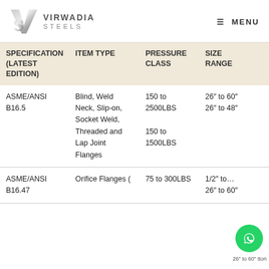VIRWADIA STEELS | MENU
| SPECIFICATION (LATEST EDITION) | ITEM TYPE | PRESSURE CLASS | SIZE RANGE |
| --- | --- | --- | --- |
| ASME/ANSI B16.5 | Blind, Weld Neck, Slip-on, Socket Weld, Threaded and Lap Joint Flanges | 150 to 2500LBS
150 to 1500LBS | 26″ to 60″
26″ to 48″ |
| ASME/ANSI B16.47 | Orifice Flanges ( | 75 to 300LBS | 1/2″ to ...
26″ to 60″ |